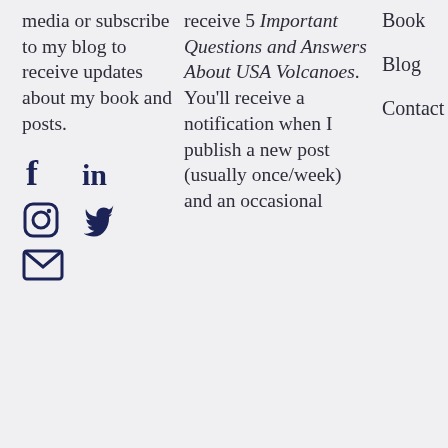media or subscribe to my blog to receive updates about my book and posts.
[Figure (illustration): Social media icons: Facebook, LinkedIn, Instagram, Twitter, Email]
receive 5 Important Questions and Answers About USA Volcanoes. You'll receive a notification when I publish a new post (usually once/week) and an occasional
Book
Blog
Contact